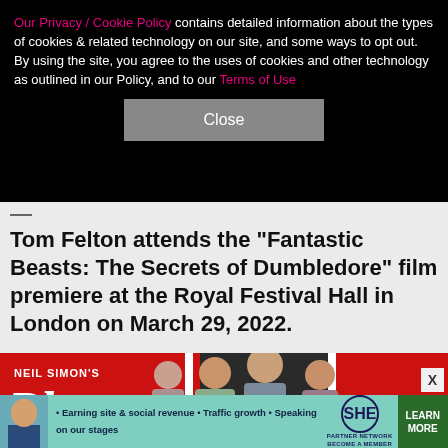Our Privacy / Cookie Policy contains detailed information about the types of cookies & related technology on our site, and some ways to opt out. By using the site, you agree to the uses of cookies and other technology as outlined in our Policy, and to our Terms of Use
Close
Tom Felton attends the "Fantastic Beasts: The Secrets of Dumbledore" film premiere at the Royal Festival Hall in London on March 29, 2022.
[Figure (photo): Photo of people at a premiere event with a red and dark backdrop showing 'Neil Simon's Plaza' text. Three young people visible in the foreground.]
[Figure (infographic): SHE Partner Network advertisement banner. Text: Earning site & social revenue, Traffic growth, Speaking on our stages. SHE PARTNER NETWORK BECOME A MEMBER. LEARN MORE button.]